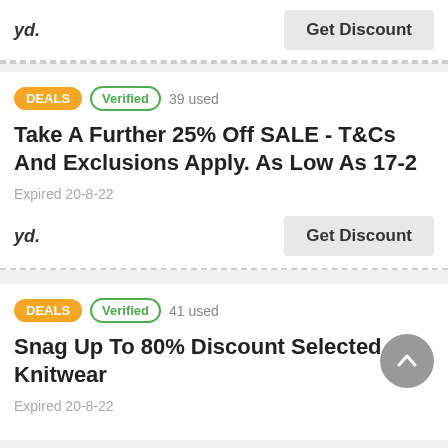yd.
Get Discount
DEALS   Verified   39 used
Take A Further 25% Off SALE - T&Cs And Exclusions Apply. As Low As 17-2
Expired 20-8-22
yd.
Get Discount
DEALS   Verified   41 used
Snag Up To 80% Discount Selected Knitwear
Expired 20-8-22